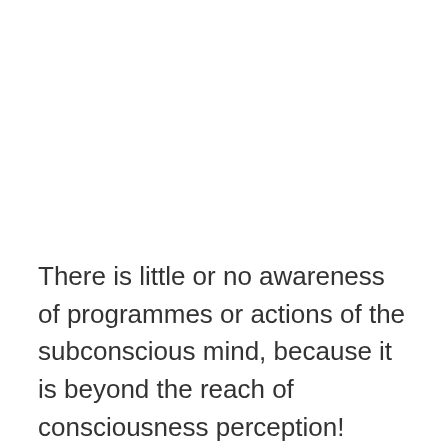There is little or no awareness of programmes or actions of the subconscious mind, because it is beyond the reach of consciousness perception!
This quantum mind controls your breathing and